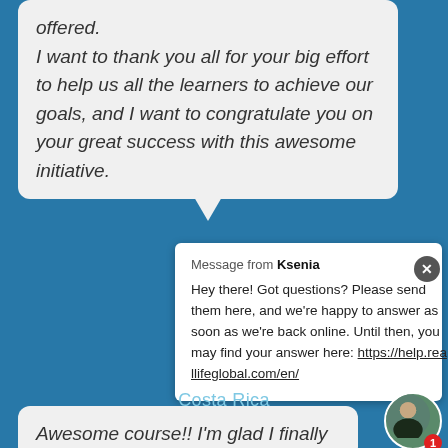offered. I want to thank you all for your big effort to help us all the learners to achieve our goals, and I want to congratulate you on your great success with this awesome initiative.
Message from Ksenia
Hey there! Got questions? Please send them here, and we're happy to answer as soon as we're back online. Until then, you may find your answer here: https://help.reallifeglobal.com/en/
Costa Rica
Awesome course!! I'm glad I finally